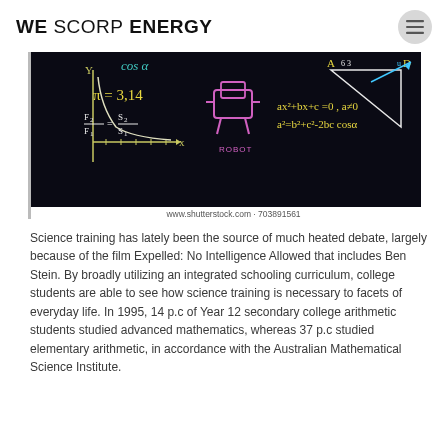WE SCORP ENERGY
[Figure (photo): A dark chalkboard background with math and science formulas written in chalk, including cos α, π=3.14, F₂/F₁=S₂/S₁, ax²+bx+c=0 a≠0, a²=b²+c²-2bc·cosα, a robot figure, and geometric shapes. Watermark: www.shutterstock.com · 703891561]
Science training has lately been the source of much heated debate, largely because of the film Expelled: No Intelligence Allowed that includes Ben Stein. By broadly utilizing an integrated schooling curriculum, college students are able to see how science training is necessary to facets of everyday life. In 1995, 14 p.c of Year 12 secondary college arithmetic students studied advanced mathematics, whereas 37 p.c studied elementary arithmetic, in accordance with the Australian Mathematical Science Institute.